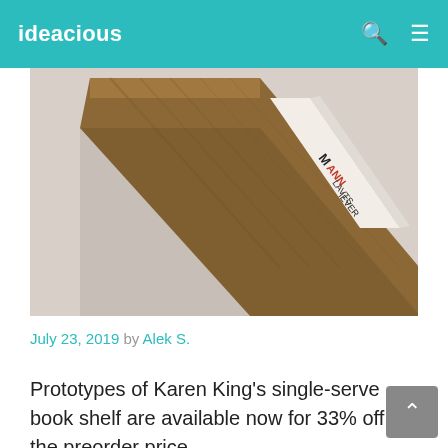ideacious
[Figure (photo): A book leaning diagonally against a wall on a wooden single-serve shelf, showing the book spine with partial text including letters M, ANN, LAVTS, IEVER]
July 23, 2019 by Alek S.
Prototypes of Karen King's single-serve book shelf are available now for 33% off the preorder price.